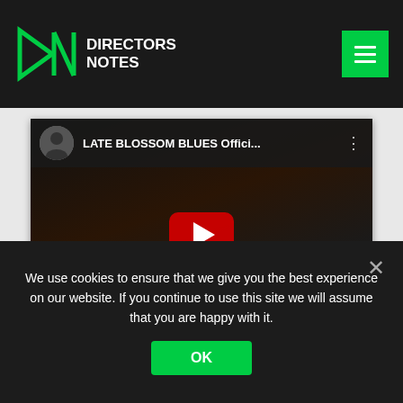Directors Notes
[Figure (screenshot): YouTube video embed thumbnail for 'LATE BLOSSOM BLUES Offici...' showing a man in a suit with a cane in a music venue setting, with a red YouTube play button overlay]
We use cookies to ensure that we give you the best experience on our website. If you continue to use this site we will assume that you are happy with it.